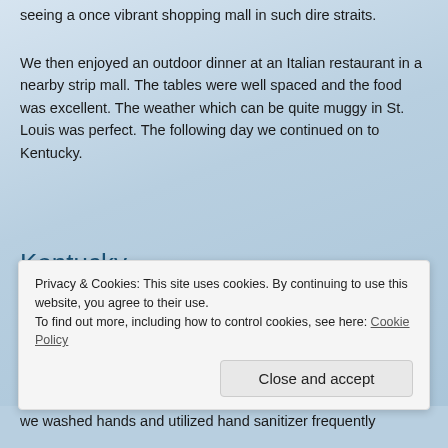seeing a once vibrant shopping mall in such dire straits.
We then enjoyed an outdoor dinner at an Italian restaurant in a nearby strip mall. The tables were well spaced and the food was excellent. The weather which can be quite muggy in St. Louis was perfect. The following day we continued on to Kentucky.
Kentucky
In a normal year, I make a minimum of two trips a year to Kentucky. Because of the pandemic, my spring trip was cancelled. Things are still not normal, but business can only be put off for so long. So, I am mitigating the risk factors as much as possible.
Privacy & Cookies: This site uses cookies. By continuing to use this website, you agree to their use.
To find out more, including how to control cookies, see here: Cookie Policy
we washed hands and utilized hand sanitizer frequently